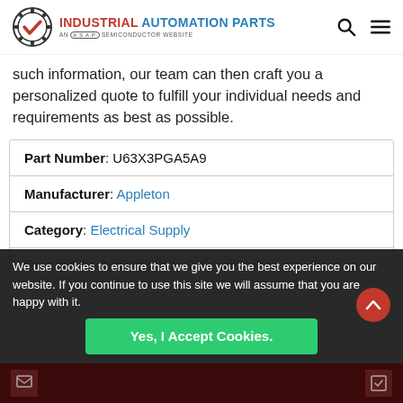INDUSTRIAL AUTOMATION PARTS — AN A.S.A.P. SEMICONDUCTOR WEBSITE
such information, our team can then craft you a personalized quote to fulfill your individual needs and requirements as best as possible.
| Field | Value |
| --- | --- |
| Part Number: | U63X3PGA5A9 |
| Manufacturer: | Appleton |
| Category: | Electrical Supply |
| Description: | Appleton U63X3PGA5A9 APP |
We use cookies to ensure that we give you the best experience on our website. If you continue to use this site we will assume that you are happy with it.
Yes, I Accept Cookies.